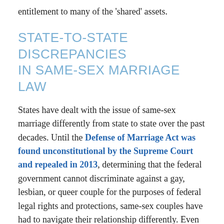entitlement to many of the 'shared' assets.
STATE-TO-STATE DISCREPANCIES IN SAME-SEX MARRIAGE LAW
States have dealt with the issue of same-sex marriage differently from state to state over the past decades. Until the Defense of Marriage Act was found unconstitutional by the Supreme Court and repealed in 2013, determining that the federal government cannot discriminate against a gay, lesbian, or queer couple for the purposes of federal legal rights and protections, same-sex couples have had to navigate their relationship differently. Even after DOMA